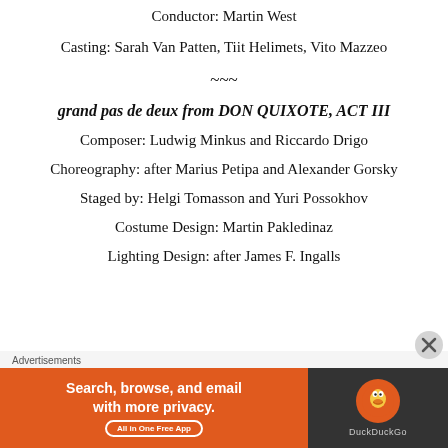Conductor: Martin West
Casting: Sarah Van Patten, Tiit Helimets, Vito Mazzeo
~~~
grand pas de deux from DON QUIXOTE, ACT III
Composer: Ludwig Minkus and Riccardo Drigo
Choreography: after Marius Petipa and Alexander Gorsky
Staged by: Helgi Tomasson and Yuri Possokhov
Costume Design: Martin Pakledinaz
Lighting Design: after James F. Ingalls
[Figure (other): DuckDuckGo advertisement banner with text: Search, browse, and email with more privacy. All in One Free App]